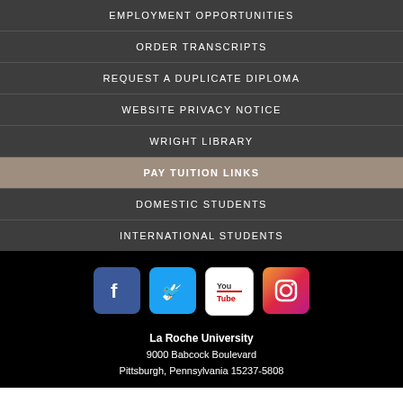EMPLOYMENT OPPORTUNITIES
ORDER TRANSCRIPTS
REQUEST A DUPLICATE DIPLOMA
WEBSITE PRIVACY NOTICE
WRIGHT LIBRARY
PAY TUITION LINKS
DOMESTIC STUDENTS
INTERNATIONAL STUDENTS
[Figure (logo): Social media icons: Facebook, Twitter, YouTube, Instagram]
La Roche University
9000 Babcock Boulevard
Pittsburgh, Pennsylvania 15237-5808